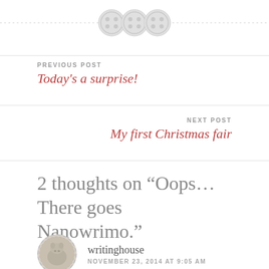[Figure (illustration): Three decorative button icons centered on a dashed horizontal line at the top of the page]
PREVIOUS POST
Today's a surprise!
NEXT POST
My first Christmas fair
2 thoughts on “Oops… There goes Nanowrimo.”
writinghouse
NOVEMBER 23, 2014 AT 9:05 AM